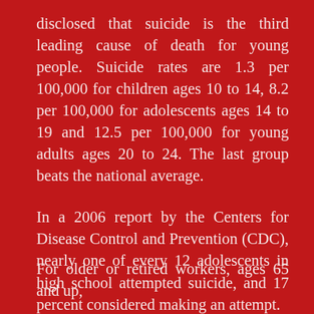disclosed that suicide is the third leading cause of death for young people. Suicide rates are 1.3 per 100,000 for children ages 10 to 14, 8.2 per 100,000 for adolescents ages 14 to 19 and 12.5 per 100,000 for young adults ages 20 to 24. The last group beats the national average.
In a 2006 report by the Centers for Disease Control and Prevention (CDC), nearly one of every 12 adolescents in high school attempted suicide, and 17 percent considered making an attempt.
For older or retired workers, ages 65 and up,